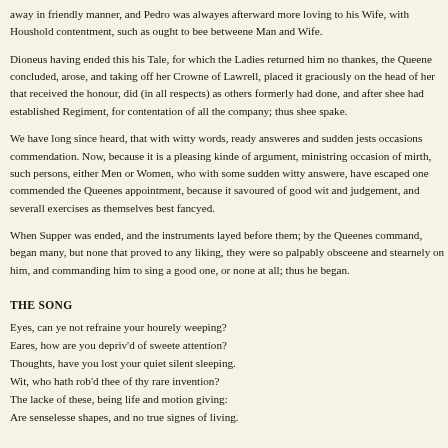away in friendly manner, and Pedro was alwayes afterward more loving to his Wife, with Houshold contentment, such as ought to bee betweene Man and Wife.
Dioneus having ended this his Tale, for which the Ladies returned him no thankes, the Queene concluded, arose, and taking off her Crowne of Lawrell, placed it graciously on the head of her that received the honour, did (in all respects) as others formerly had done, and after shee had established Regiment, for contentation of all the company; thus shee spake.
We have long since heard, that with witty words, ready answeres and sudden jests occasions commendation. Now, because it is a pleasing kinde of argument, ministring occasion of mirth, such persons, either Men or Women, who with some sudden witty answere, have escaped one commended the Queenes appointment, because it savoured of good wit and judgement, and severall exercises as themselves best fancyed.
When Supper was ended, and the instruments layed before them; by the Queenes command, began many, but none that proved to any liking, they were so palpably obsceene and stearnely on him, and commanding him to sing a good one, or none at all; thus he began.
THE SONG
Eyes, can ye not refraine your hourely weeping?
Eares, how are you depriv'd of sweete attention?
Thoughts, have you lost your quiet silent sleeping.
Wit, who hath rob'd thee of thy rare invention?
The lacke of these, being life and motion giving:
Are senselesse shapes, and no true signes of living.